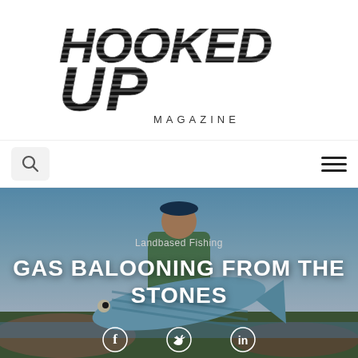[Figure (logo): Hooked Up Magazine logo — large bold stylized text 'HOOKED UP' with 'MAGAZINE' below in smaller caps, black with chrome/striped effect]
[Figure (other): Navigation bar with search icon (magnifying glass in grey box) on left and hamburger menu icon on right]
[Figure (photo): Full-width hero photo: man in green shirt and cap holding a large wahoo/kingfish against rocky coastal background and blue sky]
Landbased Fishing
GAS BALOONING FROM THE STONES
[Figure (other): Social share icons: Facebook, Twitter (bird), LinkedIn at bottom of hero]